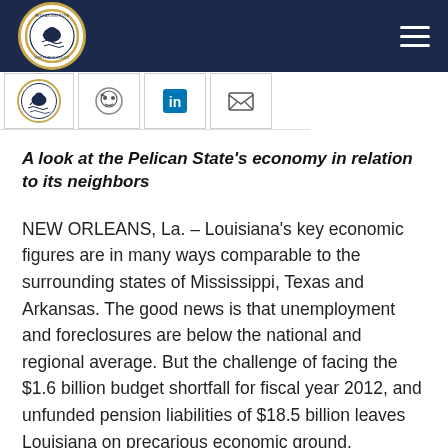Pelican Institute for Public Policy
A look at the Pelican State's economy in relation to its neighbors
NEW ORLEANS, La. – Louisiana's key economic figures are in many ways comparable to the surrounding states of Mississippi, Texas and Arkansas. The good news is that unemployment and foreclosures are below the national and regional average. But the challenge of facing the $1.6 billion budget shortfall for fiscal year 2012, and unfunded pension liabilities of $18.5 billion leaves Louisiana on precarious economic ground.